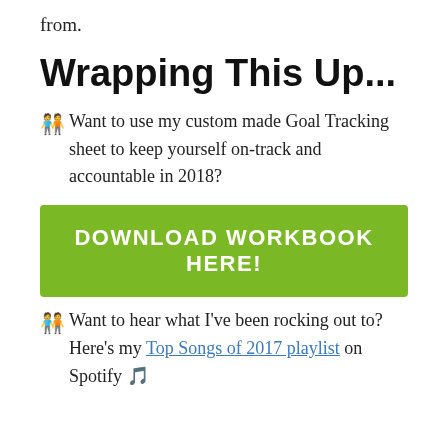from.
Wrapping This Up...
👥 Want to use my custom made Goal Tracking sheet to keep yourself on-track and accountable in 2018?
[Figure (other): Green call-to-action button reading DOWNLOAD WORKBOOK HERE!]
👥 Want to hear what I've been rocking out to? Here's my Top Songs of 2017 playlist on Spotify 🎵